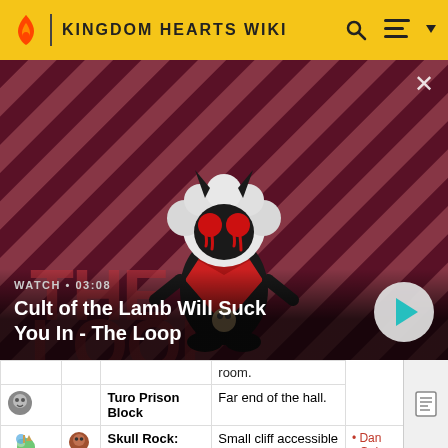KINGDOM HEARTS WIKI
[Figure (screenshot): Video banner showing a Cult of the Lamb character on a diagonal red/dark striped background with title overlay 'Cult of the Lamb Will Suck You In - The Loop' and a play button. WATCH • 03:08]
|  |  | Location | Description | Items |
| --- | --- | --- | --- | --- |
|  |  |  | room. |  |
|  | (wolf icon) | Turo Prison Block | Far end of the hall. |  |
| (island icon) | (wolf icon) | Skull Rock: Entrance | Small cliff accessible | • Dan
• Golc |